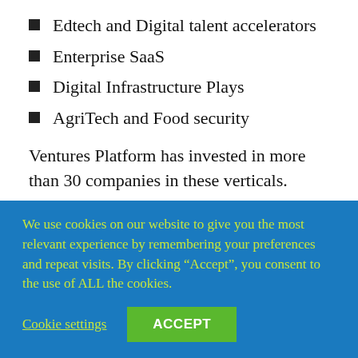Edtech and Digital talent accelerators
Enterprise SaaS
Digital Infrastructure Plays
AgriTech and Food security
Ventures Platform has invested in more than 30 companies in these verticals.
4. Greentree Investment Company
We use cookies on our website to give you the most relevant experience by remembering your preferences and repeat visits. By clicking “Accept”, you consent to the use of ALL the cookies.
Cookie settings   ACCEPT